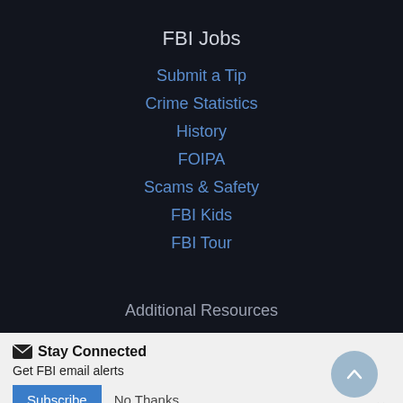FBI Jobs
Submit a Tip
Crime Statistics
History
FOIPA
Scams & Safety
FBI Kids
FBI Tour
Additional Resources
Stay Connected
Get FBI email alerts
Subscribe   No Thanks